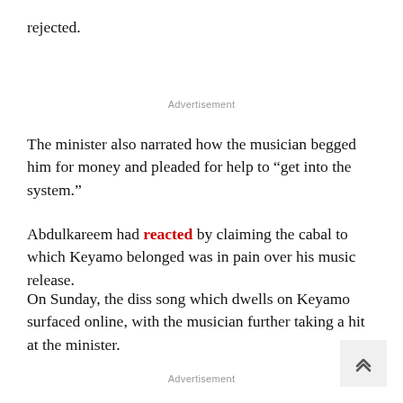rejected.
Advertisement
The minister also narrated how the musician begged him for money and pleaded for help to “get into the system.”
Abdulkareem had reacted by claiming the cabal to which Keyamo belonged was in pain over his music release.
On Sunday, the diss song which dwells on Keyamo surfaced online, with the musician further taking a hit at the minister.
Advertisement